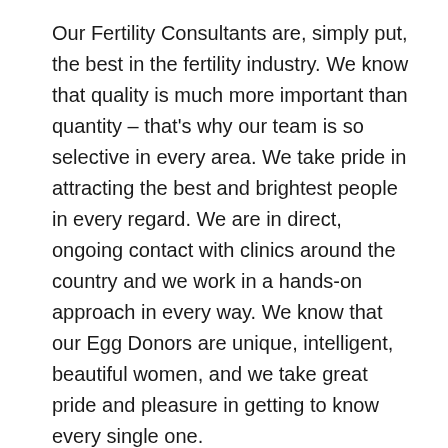Our Fertility Consultants are, simply put, the best in the fertility industry. We know that quality is much more important than quantity – that's why our team is so selective in every area. We take pride in attracting the best and brightest people in every regard. We are in direct, ongoing contact with clinics around the country and we work in a hands-on approach in every way. We know that our Egg Donors are unique, intelligent, beautiful women, and we take great pride and pleasure in getting to know every single one.
Our intensive Egg Donor screening process attracts the best and brightest young women to our program. We only select educated,